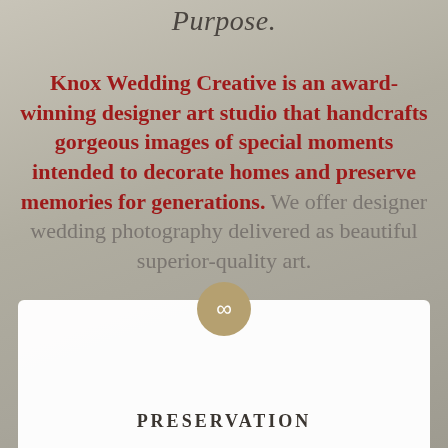Purpose.
Knox Wedding Creative is an award-winning designer art studio that handcrafts gorgeous images of special moments intended to decorate homes and preserve memories for generations. We offer designer wedding photography delivered as beautiful superior-quality art.
[Figure (illustration): Gold/tan circular badge with infinity symbol (∞) centered, overlapping the top edge of a white rounded card]
PRESERVATION